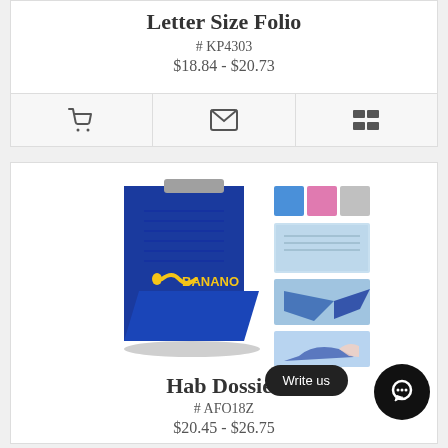Letter Size Folio
# KP4303
$18.84 - $20.73
[Figure (infographic): Action bar with three icons: shopping cart, envelope/email, and list/menu icon]
[Figure (photo): Product photo of Hab Dossier blue folio with BANANO logo, shown with color swatches and detail shots]
Hab Dossier
# AFO18Z
$20.45 - $26.75